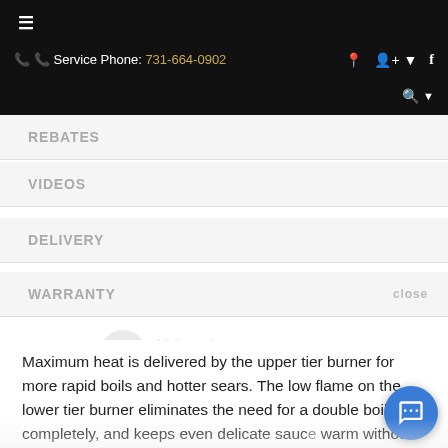☰  📞 Service Phone: 731-664-0902  📍  👤▾  f  🔍▾
REBATES
VIDEOS
DELIVERY
WARRANTY
Maximum heat is delivered by the upper tier burner for more rapid boils and hotter sears. The low flame on the lower tier burner eliminates the need for a double boiler completely, and keeps even delicate sauce warm without fear of scorching or separating.